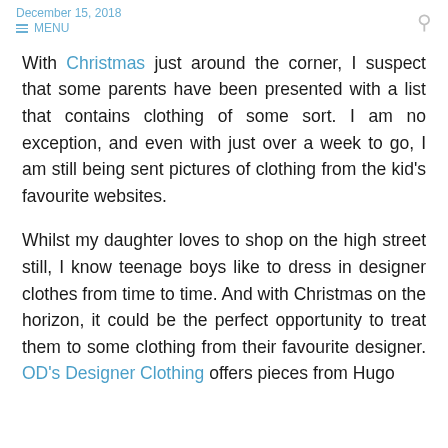December 15, 2018  MENU
With Christmas just around the corner, I suspect that some parents have been presented with a list that contains clothing of some sort. I am no exception, and even with just over a week to go, I am still being sent pictures of clothing from the kid's favourite websites.
Whilst my daughter loves to shop on the high street still, I know teenage boys like to dress in designer clothes from time to time. And with Christmas on the horizon, it could be the perfect opportunity to treat them to some clothing from their favourite designer. OD's Designer Clothing offers pieces from Hugo